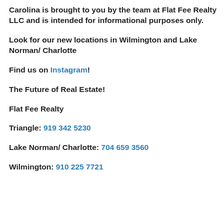Carolina is brought to you by the team at Flat Fee Realty LLC and is intended for informational purposes only.
Look for our new locations in Wilmington and Lake Norman/ Charlotte
Find us on Instagram!
The Future of Real Estate!
Flat Fee Realty
Triangle: 919 342 5230
Lake Norman/ Charlotte: 704 659 3560
Wilmington: 910 225 7721